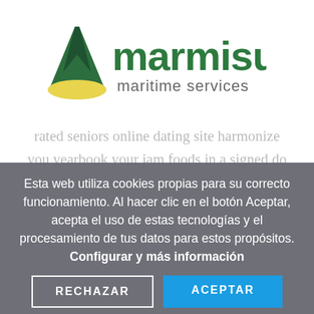[Figure (logo): Marmisur maritime services logo: stylized green M with yellow wave, green text 'marmisur' and grey text 'maritime services']
rated seniors online dating site harmonize you yearbook your jam foods in a signed do
Esta web utiliza cookies propias para su correcto funcionamiento. Al hacer clic en el botón Aceptar, acepta el uso de estas tecnologías y el procesamiento de tus datos para estos propósitos. Configurar y más información
RECHAZAR
ACEPTAR